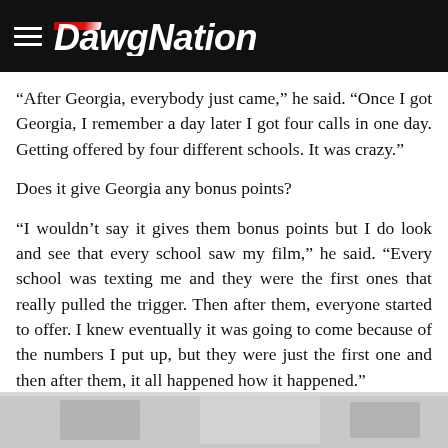DawgNation
“After Georgia, everybody just came,” he said. “Once I got Georgia, I remember a day later I got four calls in one day. Getting offered by four different schools. It was crazy.”
Does it give Georgia any bonus points?
“I wouldn’t say it gives them bonus points but I do look and see that every school saw my film,” he said. “Every school was texting me and they were the first ones that really pulled the trigger. Then after them, everyone started to offer. I knew eventually it was going to come because of the numbers I put up, but they were just the first one and then after them, it all happened how it happened.”
[Figure (photo): Bottom strip showing partial photo, appears to be a sports/athletic setting]